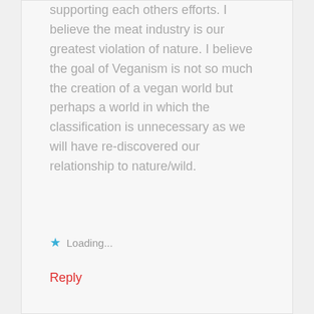supporting each others efforts. I believe the meat industry is our greatest violation of nature. I believe the goal of Veganism is not so much the creation of a vegan world but perhaps a world in which the classification is unnecessary as we will have re-discovered our relationship to nature/wild.
★ Loading...
Reply